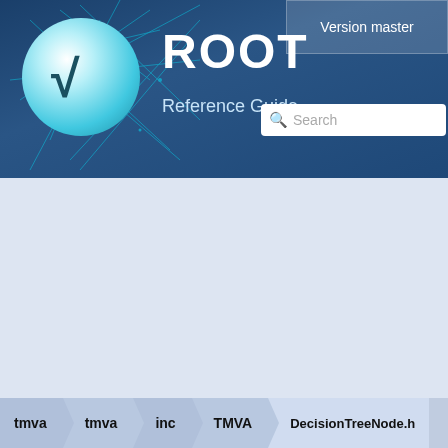[Figure (screenshot): ROOT framework logo with teal circle containing square root symbol on blue particle physics background]
ROOT Reference Guide Version master
DecisionTreeNode
Go to the documentation of this file.
tmva > tmva > inc > TMVA > DecisionTreeNode.h